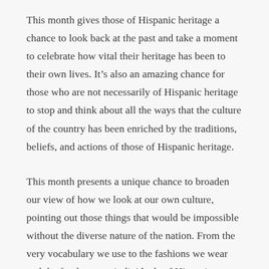This month gives those of Hispanic heritage a chance to look back at the past and take a moment to celebrate how vital their heritage has been to their own lives. It’s also an amazing chance for those who are not necessarily of Hispanic heritage to stop and think about all the ways that the culture of the country has been enriched by the traditions, beliefs, and actions of those of Hispanic heritage.
This month presents a unique chance to broaden our view of how we look at our own culture, pointing out those things that would be impossible without the diverse nature of the nation. From the very vocabulary we use to the fashions we wear and the food we eat, individuals of Hispanic heritage have made a huge impact on the way we all live our lives. For those who have already begun to...